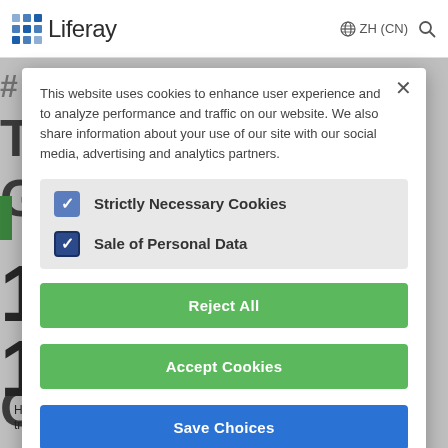Liferay ZH (CN)
[Figure (screenshot): Cookie consent modal overlay on Liferay website. Modal contains cookie policy text, two checkboxes (Strictly Necessary Cookies checked, Sale of Personal Data checked), and three buttons: Reject All (green), Accept Cookies (green), Save Choices (blue).]
This website uses cookies to enhance user experience and to analyze performance and traffic on our website. We also share information about your use of our site with our social media, advertising and analytics partners.
Strictly Necessary Cookies
Sale of Personal Data